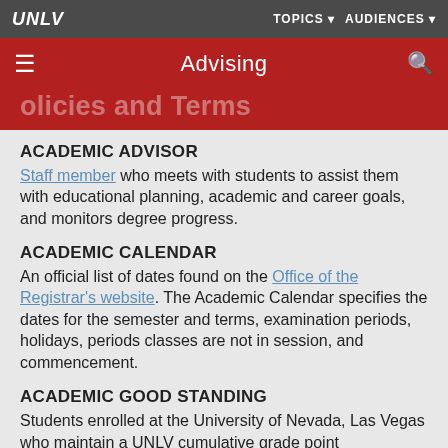UNLV | TOPICS ▼  AUDIENCES ▼
Advising
Policies and Terms
ACADEMIC ADVISOR
Staff member who meets with students to assist them with educational planning, academic and career goals, and monitors degree progress.
ACADEMIC CALENDAR
An official list of dates found on the Office of the Registrar's website. The Academic Calendar specifies the dates for the semester and terms, examination periods, holidays, periods classes are not in session, and commencement.
ACADEMIC GOOD STANDING
Students enrolled at the University of Nevada, Las Vegas who maintain a UNLV cumulative grade point